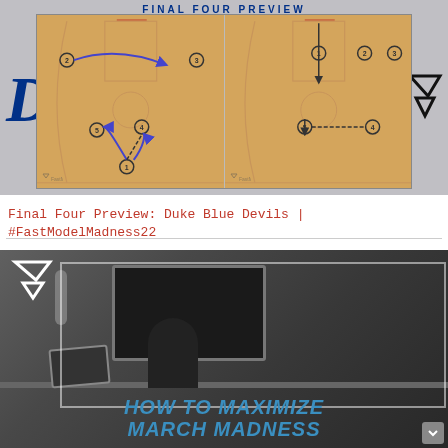[Figure (illustration): Basketball court diagram showing Duke Blue Devils plays with player positions and movement arrows. Duke 'D' logo on left, FastModel logo on right, 'FINAL FOUR PREVIEW' header text at top in blue. Two court halves side by side showing plays.]
Final Four Preview: Duke Blue Devils | #FastModelMadness22
[Figure (photo): Black and white photo of a person sitting at a computer desk with a monitor. FastModel logo (white triangle/chevron) in top left. Text overlay reads 'HOW TO MAXIMIZE MARCH MADNESS' in large bold italic blue letters.]